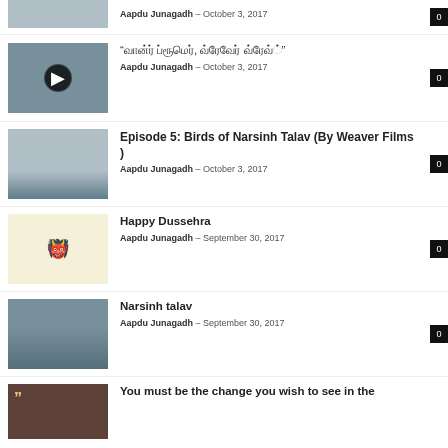Aapdu Junagadh – October 3, 2017 | 0
"[Gujarati text]" Aapdu Junagadh – October 3, 2017 | 0
Episode 5: Birds of Narsinh Talav (By Weaver Films ) Aapdu Junagadh – October 3, 2017 | 0
Happy Dussehra Aapdu Junagadh – September 30, 2017 | 0
Narsinh talav Aapdu Junagadh – September 30, 2017 | 0
You must be the change you wish to see in the